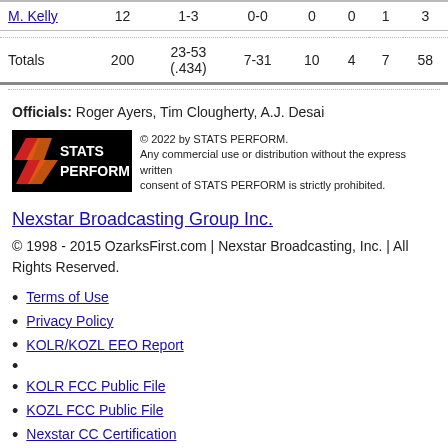|  |  |  |  |  |  |  |  |
| --- | --- | --- | --- | --- | --- | --- | --- |
| M. Kelly | 12 | 1-3 | 0-0 | 0 | 0 | 1 | 3 |
| Totals | 200 | 23-53 (.434) | 7-31 | 10 | 4 | 7 | 58 |
Officials: Roger Ayers, Tim Clougherty, A.J. Desai
[Figure (logo): STATS PERFORM logo with red/orange chevron icon on black background]
© 2022 by STATS PERFORM. Any commercial use or distribution without the express written consent of STATS PERFORM is strictly prohibited.
Nexstar Broadcasting Group Inc.
© 1998 - 2015 OzarksFirst.com | Nexstar Broadcasting, Inc. | All Rights Reserved.
Terms of Use
Privacy Policy
KOLR/KOZL EEO Report
KOLR FCC Public File
KOZL FCC Public File
Nexstar CC Certification